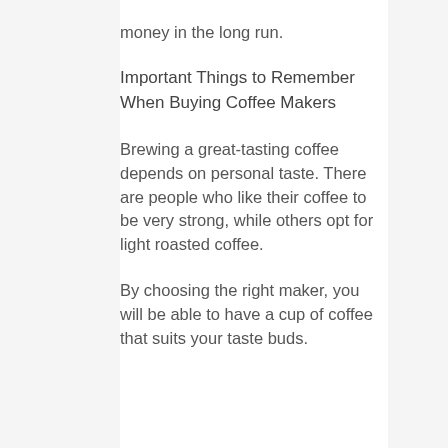money in the long run.
Important Things to Remember When Buying Coffee Makers
Brewing a great-tasting coffee depends on personal taste. There are people who like their coffee to be very strong, while others opt for light roasted coffee.
By choosing the right maker, you will be able to have a cup of coffee that suits your taste buds.